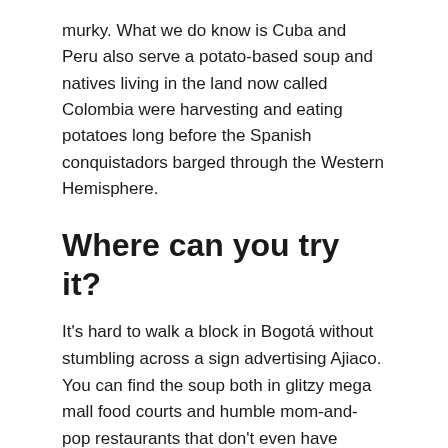murky. What we do know is Cuba and Peru also serve a potato-based soup and natives living in the land now called Colombia were harvesting and eating potatoes long before the Spanish conquistadors barged through the Western Hemisphere.
Where can you try it?
It's hard to walk a block in Bogotá without stumbling across a sign advertising Ajiaco. You can find the soup both in glitzy mega mall food courts and humble mom-and-pop restaurants that don't even have menus. While there's no shortage of Ajiaco, these restaurants are known for offering lip-smacking Ajiaco in Bogotá: Ajiaco Don Santicos, Paella de la Candelaria, La Puerta Falsa and Andrés DC.